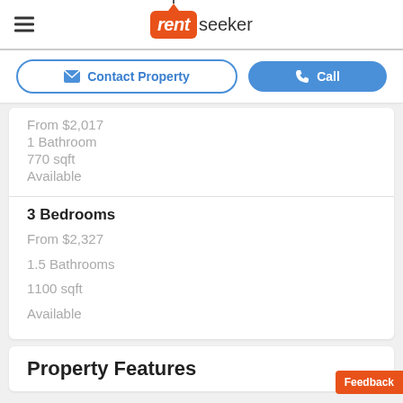[Figure (logo): RentSeeker logo with orange box containing 'rent' in white italic and 'seeker' in dark gray]
Contact Property | Call
From $2,017
1 Bathroom
770 sqft
Available
3 Bedrooms
From $2,327
1.5 Bathrooms
1100 sqft
Available
Property Features